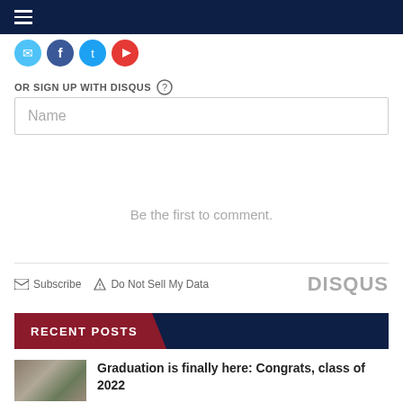Navigation menu header bar
[Figure (illustration): Social media icon circles: blue (message), dark blue (Facebook), light blue (Twitter), red (YouTube/play)]
OR SIGN UP WITH DISQUS ?
Name
Be the first to comment.
Subscribe  Do Not Sell My Data  DISQUS
RECENT POSTS
Graduation is finally here: Congrats, class of 2022